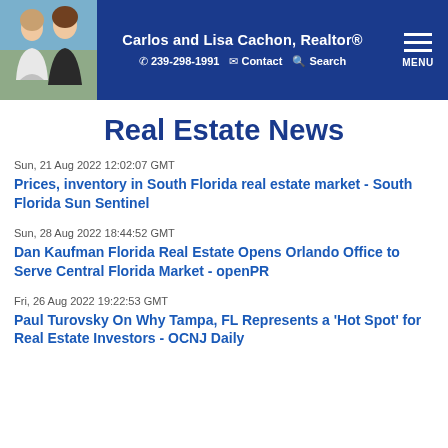Carlos and Lisa Cachon, Realtor® | ☎ 239-298-1991 | Contact | Search | MENU
Real Estate News
Sun, 21 Aug 2022 12:02:07 GMT
Prices, inventory in South Florida real estate market - South Florida Sun Sentinel
Sun, 28 Aug 2022 18:44:52 GMT
Dan Kaufman Florida Real Estate Opens Orlando Office to Serve Central Florida Market - openPR
Fri, 26 Aug 2022 19:22:53 GMT
Paul Turovsky On Why Tampa, FL Represents a 'Hot Spot' for Real Estate Investors - OCNJ Daily